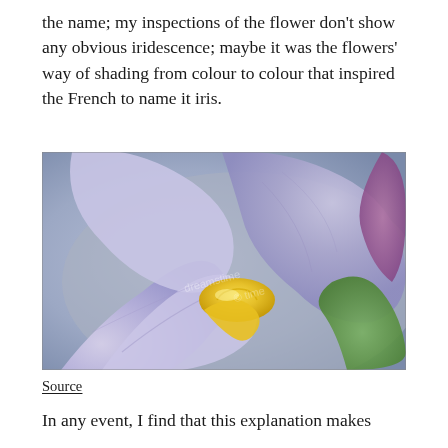the name; my inspections of the flower don't show any obvious iridescence; maybe it was the flowers' way of shading from colour to colour that inspired the French to name it iris.
[Figure (photo): Close-up macro photograph of a purple/lavender iris flower with a yellow center stripe on the petal, with a green stem visible in the background and a purple bud on the right edge.]
Source
In any event, I find that this explanation makes